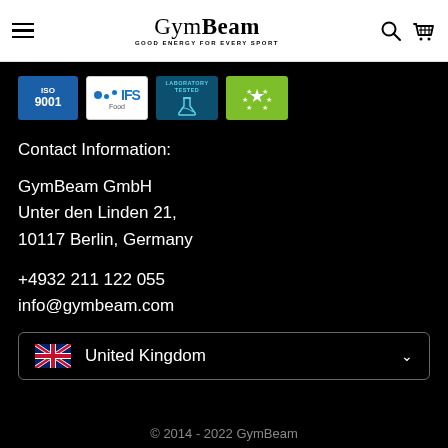GymBeam — GOOD ENERGY FOR EVERY SPORT
[Figure (logo): ISO 9001 badge]
[Figure (logo): IFS Food badge]
[Figure (logo): Laboratory Tested badge]
[Figure (logo): EU Organic/Eco badge]
Contact Information:
GymBeam GmbH
Unter den Linden 21,
10117 Berlin, Germany
+4932 211 122 055
info@gymbeam.com
United Kingdom
© 2014 - 2022 GymBeam